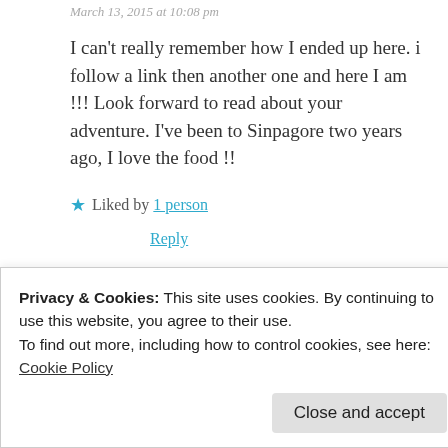March 13, 2015 at 10:08 pm
I can’t really remember how I ended up here. i follow a link then another one and here I am !!! Look forward to read about your adventure. I’ve been to Sinpagore two years ago, I love the food !!
★ Liked by 1 person
Reply
[Figure (photo): Avatar photo of user Sha — circular profile picture showing a person wearing sunglasses]
Sha  March 15, 2015 at 10:13 pm
Privacy & Cookies: This site uses cookies. By continuing to use this website, you agree to their use.
To find out more, including how to control cookies, see here:
Cookie Policy
Close and accept
★ Liked by 1 person